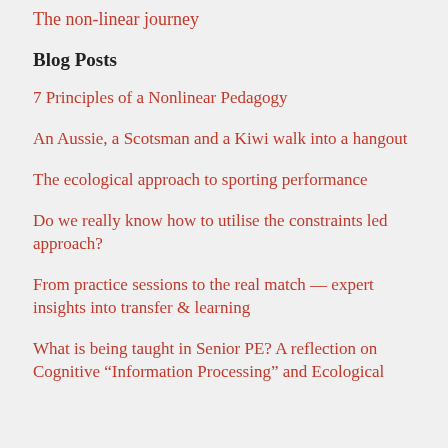The non-linear journey
Blog Posts
7 Principles of a Nonlinear Pedagogy
An Aussie, a Scotsman and a Kiwi walk into a hangout
The ecological approach to sporting performance
Do we really know how to utilise the constraints led approach?
From practice sessions to the real match — expert insights into transfer & learning
What is being taught in Senior PE? A reflection on Cognitive “Information Processing” and Ecological